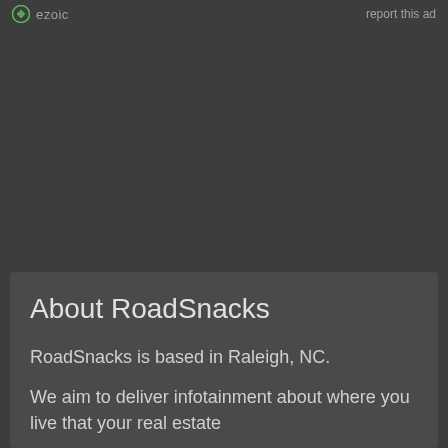ezoic  report this ad
About RoadSnacks
RoadSnacks is based in Raleigh, NC.
We aim to deliver infotainment about where you live that your real estate